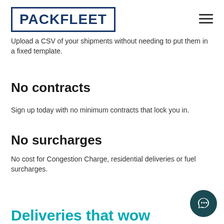PACKFLEET
Upload a CSV of your shipments without needing to put them in a fixed template.
No contracts
Sign up today with no minimum contracts that lock you in.
No surcharges
No cost for Congestion Charge, residential deliveries or fuel surcharges.
Deliveries that wow